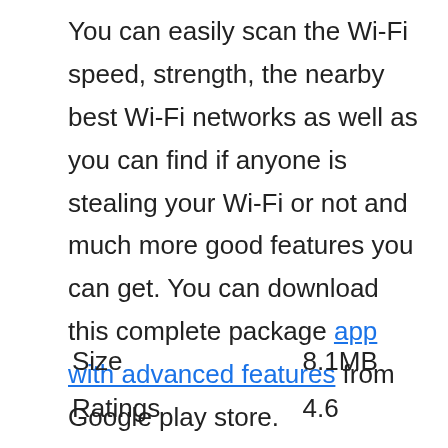You can easily scan the Wi-Fi speed, strength, the nearby best Wi-Fi networks as well as you can find if anyone is stealing your Wi-Fi or not and much more good features you can get. You can download this complete package app with advanced features from Google play store.
| Size | 8.1MB |
| Ratings | 4.6 |